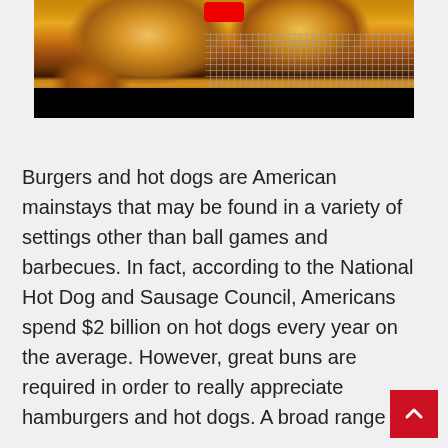[Figure (photo): Close-up photo of golden-brown burger/hot dog buns being held by a hand over a wire cooling rack, with a black bar at the bottom and a red logo partially visible at the top]
Burgers and hot dogs are American mainstays that may be found in a variety of settings other than ball games and barbecues. In fact, according to the National Hot Dog and Sausage Council, Americans spend $2 billion on hot dogs every year on the average. However, great buns are required in order to really appreciate hamburgers and hot dogs. A broad range of buns are sold to restaurants, schools, and food industries around the country by